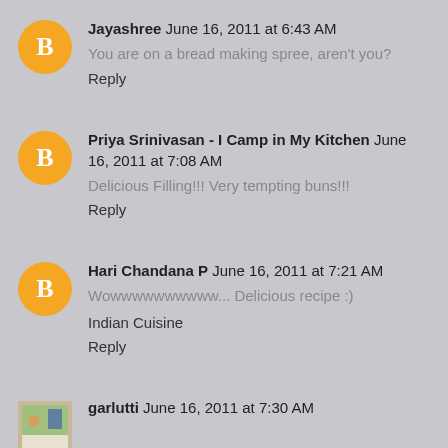Jayashree June 16, 2011 at 6:43 AM
You are on a bread making spree, aren't you?
Reply
Priya Srinivasan - I Camp in My Kitchen June 16, 2011 at 7:08 AM
Delicious Filling!!! Very tempting buns!!!
Reply
Hari Chandana P June 16, 2011 at 7:21 AM
Wowwwwwwwwww... Delicious recipe :)
Indian Cuisine
Reply
garlutti June 16, 2011 at 7:30 AM